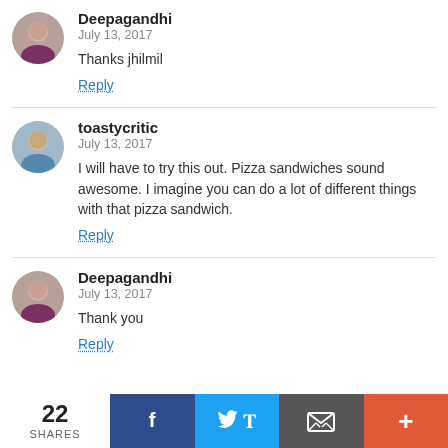Deepagandhi
July 13, 2017
Thanks jhilmil
Reply
toastycritic
July 13, 2017
I will have to try this out. Pizza sandwiches sound awesome. I imagine you can do a lot of different things with that pizza sandwich.
Reply
Deepagandhi
July 13, 2017
Thank you
Reply
22
SHARES